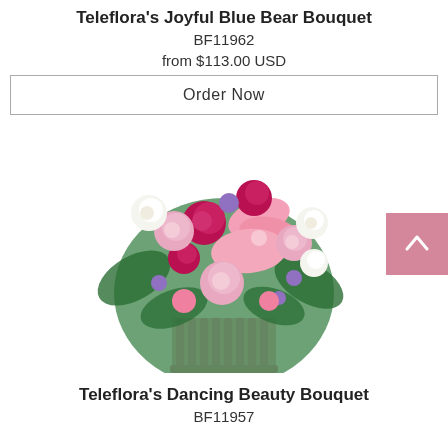Teleflora's Joyful Blue Bear Bouquet
BF11962
from $113.00 USD
Order Now
[Figure (photo): A lush flower bouquet arrangement with pink lilies, pink roses, red roses, white alstroemeria, and purple statice in a pink ribbed vase]
Teleflora's Dancing Beauty Bouquet
BF11957